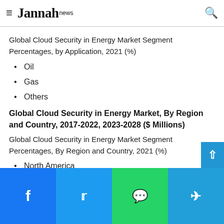Jannah news
Global Cloud Security in Energy Market Segment Percentages, by Application, 2021 (%)
Oil
Gas
Others
Global Cloud Security in Energy Market, By Region and Country, 2017-2022, 2023-2028 ($ Millions)
Global Cloud Security in Energy Market Segment Percentages, By Region and Country, 2021 (%)
North America